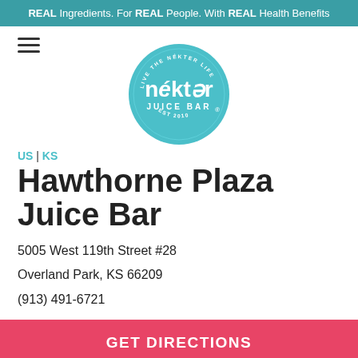REAL Ingredients. For REAL People. With REAL Health Benefits
[Figure (logo): Nékter Juice Bar circular teal logo with text 'nékter JUICE BAR EST 2010' and 'LIVE THE NÉKTER LIFE' around the ring]
US | KS
Hawthorne Plaza Juice Bar
5005 West 119th Street #28
Overland Park, KS 66209
(913) 491-6721
GET DIRECTIONS
ORDER NOW